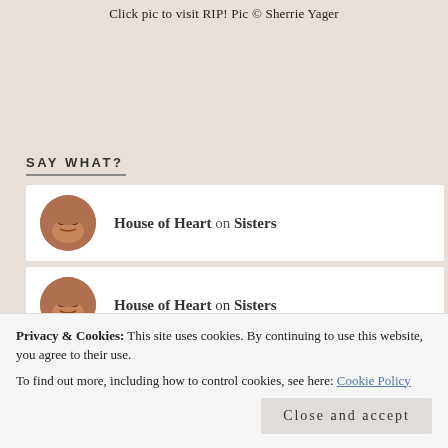Click pic to visit RIP! Pic © Sherrie Yager
SAY WHAT?
House of Heart on Sisters
House of Heart on Sisters
Resa on Debris Darling
Privacy & Cookies: This site uses cookies. By continuing to use this website, you agree to their use.
To find out more, including how to control cookies, see here: Cookie Policy